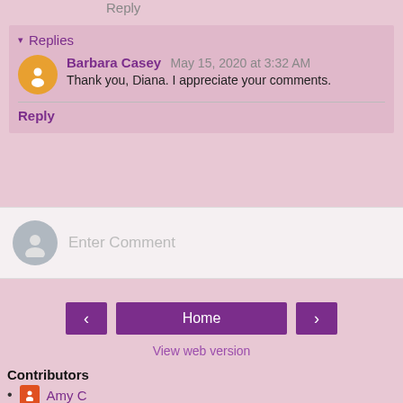Reply
▾ Replies
Barbara Casey  May 15, 2020 at 3:32 AM
Thank you, Diana. I appreciate your comments.
Reply
Enter Comment
Home
View web version
Contributors
Amy C